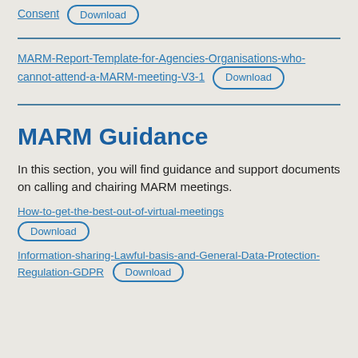Consent  Download
MARM-Report-Template-for-Agencies-Organisations-who-cannot-attend-a-MARM-meeting-V3-1  Download
MARM Guidance
In this section, you will find guidance and support documents on calling and chairing MARM meetings.
How-to-get-the-best-out-of-virtual-meetings  Download
Information-sharing-Lawful-basis-and-General-Data-Protection-Regulation-GDPR  Download